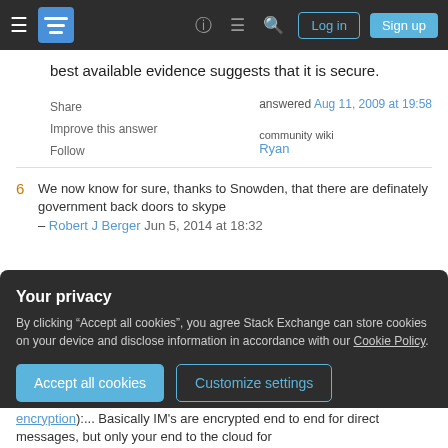Stack Exchange navigation bar with hamburger menu, logo, help, chat, search icons, Log in and Sign up buttons
best available evidence suggests that it is secure.
Share
Improve this answer
Follow
answered Aug 11, 2009 at 19:58
community wiki
Ryan
6 We now know for sure, thanks to Snowden, that there are definately government back doors to skype – Robert J Berger Jun 5, 2014 at 18:32
Your privacy
By clicking "Accept all cookies", you agree Stack Exchange can store cookies on your device and disclose information in accordance with our Cookie Policy.
Accept all cookies  Customize settings
encryption):... Basically IM's are encrypted end to end for direct messages, but only your end to the cloud for